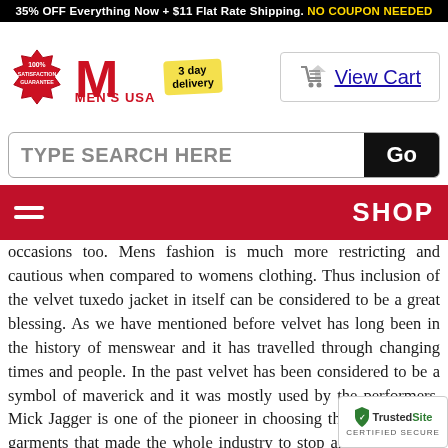35% OFF Everything Now + $11 Flat Rate Shipping. NO COUPON NEEDED
[Figure (logo): Men's USA logo with 100% satisfaction guarantee badge and 3 day delivery tag]
[Figure (screenshot): View Cart button with shopping cart icon]
[Figure (screenshot): Search bar with TYPE SEARCH HERE placeholder and Go button]
[Figure (screenshot): Navigation bar with hamburger menu and SHOP label on crimson background]
occasions too. Mens fashion is much more restricting and cautious when compared to womens clothing. Thus inclusion of the velvet tuxedo jacket in itself can be considered to be a great blessing. As we have mentioned before velvet has long been in the history of menswear and it has travelled through changing times and people. In the past velvet has been considered to be a symbol of maverick and it was mostly used by the performers. Mick Jagger is one of the pioneer in choosing the flashy velvet garments that made the whole industry to stop and take a look. Today velvet has become a integral part of many mens wardrobe and thus you don't have rebellious or a maverick to try out the velvet
[Figure (logo): TrustedSite Certified Secure badge]